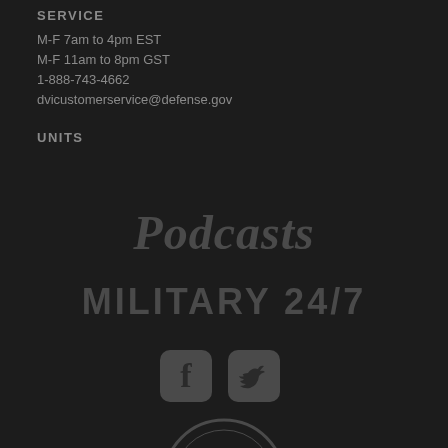SERVICE
M-F 7am to 4pm EST
M-F 11am to 8pm GST
1-888-743-4662
dvicustomerservice@defense.gov
UNITS
[Figure (screenshot): Podcasts section heading in large bold italic gray text on dark background]
[Figure (screenshot): MILITARY 24/7 section heading in large bold gray text on dark background]
[Figure (infographic): Social media icons: Facebook and Twitter in rounded square style, gray on dark background]
[Figure (logo): Partial circular logo at bottom of page, gray on dark background]